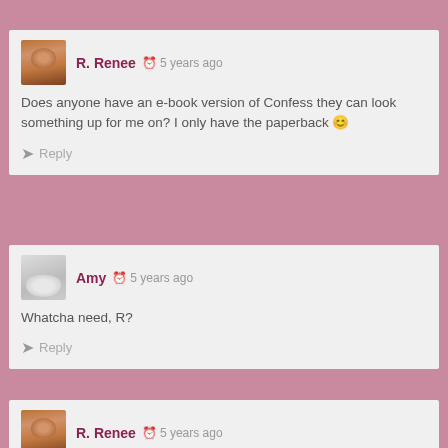R. Renee · 5 years ago
Does anyone have an e-book version of Confess they can look something up for me on? I only have the paperback 😊
Reply
Amy · 5 years ago
Whatcha need, R?
Reply
R. Renee · 5 years ago